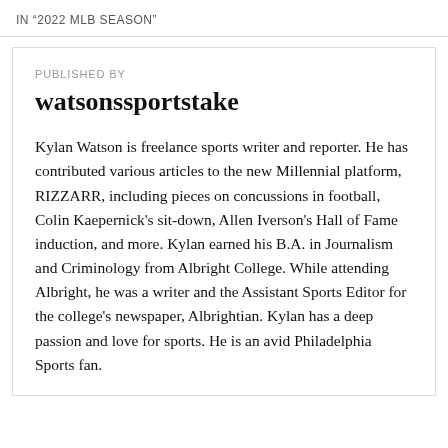IN "2022 MLB SEASON"
PUBLISHED BY
watsonssportstake
Kylan Watson is freelance sports writer and reporter. He has contributed various articles to the new Millennial platform, RIZZARR, including pieces on concussions in football, Colin Kaepernick's sit-down, Allen Iverson's Hall of Fame induction, and more. Kylan earned his B.A. in Journalism and Criminology from Albright College. While attending Albright, he was a writer and the Assistant Sports Editor for the college's newspaper, Albrightian. Kylan has a deep passion and love for sports. He is an avid Philadelphia Sports fan.